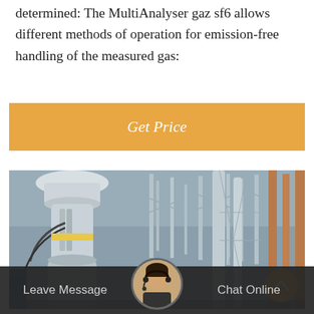determined: The MultiAnalyser gaz sf6 allows different methods of operation for emission-free handling of the measured gas:
[Figure (other): Orange 'Get Price' button]
[Figure (photo): Industrial electrical substation equipment — large white high-voltage transformer or circuit breaker with cables, metal framework structures in background]
Leave Message   Chat Online